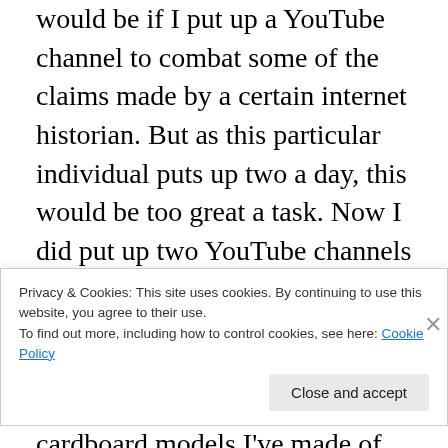would be if I put up a YouTube channel to combat some of the claims made by a certain internet historian. But as this particular individual puts up two a day, this would be too great a task. Now I did put up two YouTube channels under my own name, David Sivier. The first simply deals with replica musical instruments I've made for myself and cardboard models I've made of various archaeological monuments and artefacts. Unfortunately, I tried getting the channel to accept images from my mobile, with the result that it no longer recognises me as the channel's owner
Privacy & Cookies: This site uses cookies. By continuing to use this website, you agree to their use.
To find out more, including how to control cookies, see here: Cookie Policy
Close and accept